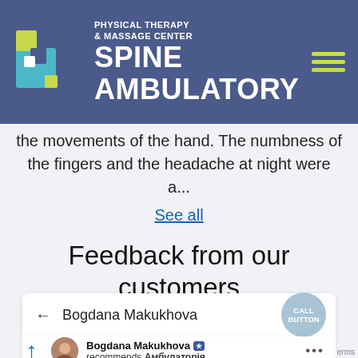[Figure (logo): Spine Ambulatory Physical Therapy & Massage Center logo with teal/green puzzle-piece icon and white text on purple-blue header background with hamburger menu]
the movements of the hand. The numbness of the fingers and the headache at night were a...
See all
Feedback from our customers
← Bogdana Makukhova  CALL BUTTON
Bogdana Makukhova ★ recommends Амбулаторія